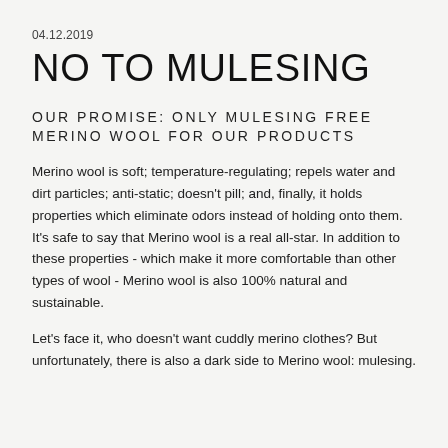04.12.2019
NO TO MULESING
OUR PROMISE: ONLY MULESING FREE MERINO WOOL FOR OUR PRODUCTS
Merino wool is soft; temperature-regulating; repels water and dirt particles; anti-static; doesn't pill; and, finally, it holds properties which eliminate odors instead of holding onto them. It's safe to say that Merino wool is a real all-star. In addition to these properties - which make it more comfortable than other types of wool - Merino wool is also 100% natural and sustainable.
Let's face it, who doesn't want cuddly merino clothes? But unfortunately, there is also a dark side to Merino wool: mulesing.